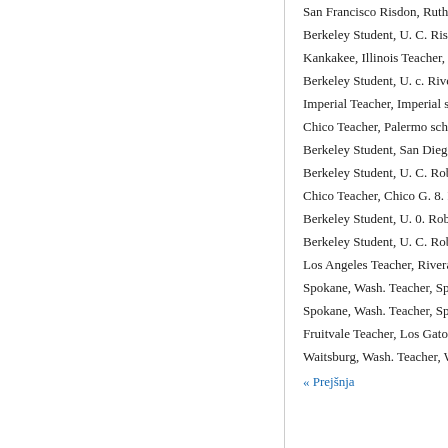San Francisco Risdon, Ruth
Berkeley Student, U. C. Risse
Kankakee, Illinois Teacher, Sa
Berkeley Student, U. c. Riven
Imperial Teacher, Imperial sch
Chico Teacher, Palermo schoo
Berkeley Student, San Diego H
Berkeley Student, U. C. Robbi
Chico Teacher, Chico G. 8. Ro
Berkeley Student, U. 0. Rober
Berkeley Student, U. C. Rober
Los Angeles Teacher, Rivera s
Spokane, Wash. Teacher, Spok
Spokane, Wash. Teacher, Spok
Fruitvale Teacher, Los Gatos H
Waitsburg, Wash. Teacher, Wa
« Prejšnja